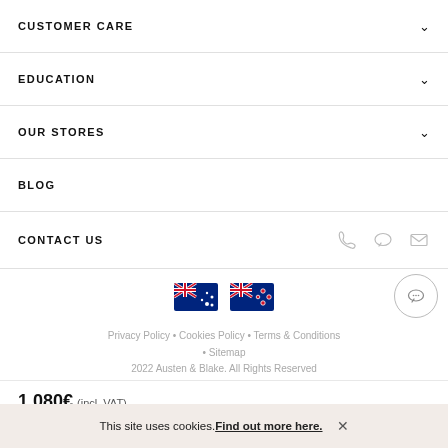CUSTOMER CARE
EDUCATION
OUR STORES
BLOG
CONTACT US
[Figure (other): Two country flags side by side: Australian flag and New Zealand flag]
Privacy Policy • Cookies Policy • Terms & Conditions • Sitemap
2022 Austen & Blake. All Rights Reserved
1,080€ (incl. VAT)
This site uses cookies. Find out more here.